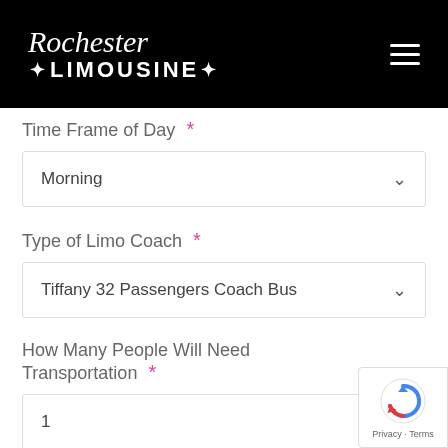Rochester Limousine
Time Frame of Day *
Morning
Type of Limo Coach *
Tiffany 32 Passengers Coach Bus
How Many People Will Need Transportation *
1